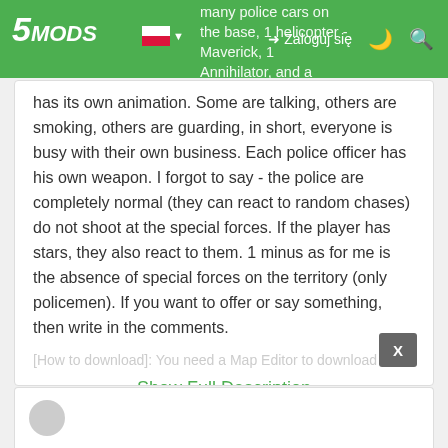5MODS | Zaloguj się
many police cars on the base, 1 helicopter - Maverick, 1 Annihilator, and a combat Buzzard.(But he spawns ...). So, on the basis of about 50 police officers, each has its own animation. Some are talking, others are smoking, others are guarding, in short, everyone is busy with their own business. Each police officer has his own weapon. I forgot to say - the police are completely normal (they can react to random chases) do not shoot at the special forces. If the player has stars, they also react to them. 1 minus as for me is the absence of special forces on the territory (only policemen). If you want to offer or say something, then write in the comments.
[How to download]: You need a Map Editor to download this...
Show Full Description
MAP EDITOR
Dodano: maj 30, 2021
Ostatnia aktualizacja: czerwiec 03, 2021
Last Downloaded: 2 dni temu